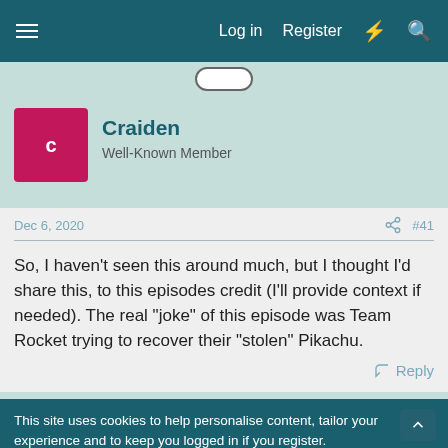Log in   Register
Craiden
Well-Known Member
Dec 6, 2020   #41
So, I haven't seen this around much, but I thought I'd share this, to this episodes credit (I'll provide context if needed). The real "joke" of this episode was Team Rocket trying to recover their "stolen" Pikachu.
Reply
This site uses cookies to help personalise content, tailor your experience and to keep you logged in if you register.
By continuing to use this site, you are consenting to our use of cookies.
Accept   Learn more...